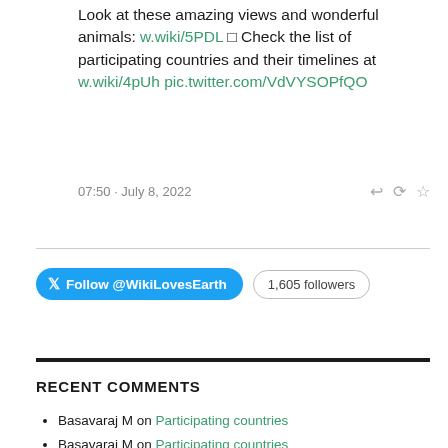Look at these amazing views and wonderful animals: w.wiki/5PDL □ Check the list of participating countries and their timelines at w.wiki/4pUh pic.twitter.com/VdVYSOPfQO
07:50 · July 8, 2022
[Figure (other): Follow @WikiLovesEarth button (Twitter blue pill) and 1,605 followers pill badge]
RECENT COMMENTS
Basavaraj M on Participating countries
Basavaraj M on Participating countries
Olesia Lukenych on Rules